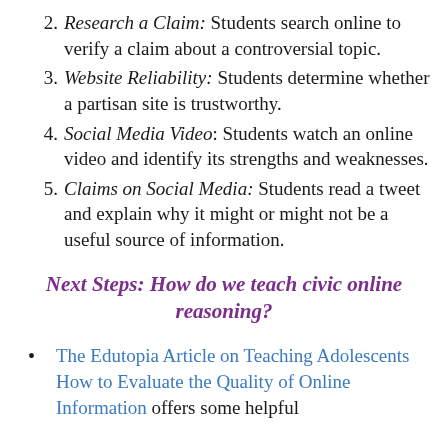2. Research a Claim: Students search online to verify a claim about a controversial topic.
3. Website Reliability: Students determine whether a partisan site is trustworthy.
4. Social Media Video: Students watch an online video and identify its strengths and weaknesses.
5. Claims on Social Media: Students read a tweet and explain why it might or might not be a useful source of information.
Next Steps: How do we teach civic online reasoning?
The Edutopia Article on Teaching Adolescents How to Evaluate the Quality of Online Information offers some helpful